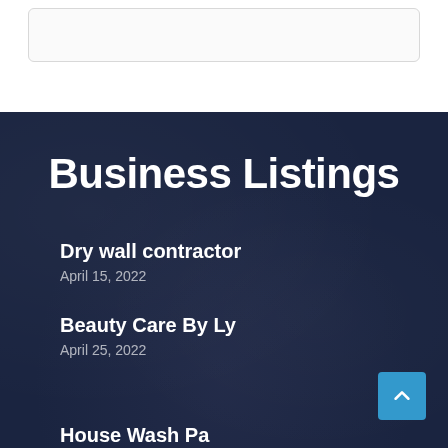[Figure (other): White card/box element at top of page on white background]
Business Listings
Dry wall contractor
April 15, 2022
Beauty Care By Ly
April 25, 2022
House Wash Pa...